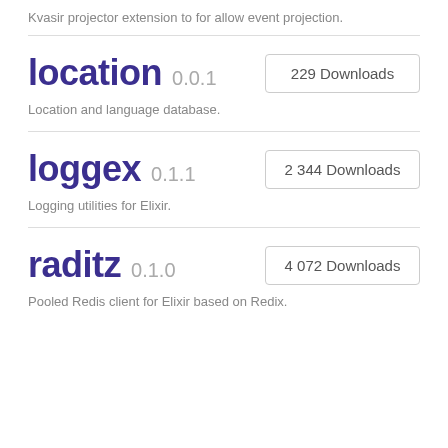Kvasir projector extension to for allow event projection.
location 0.0.1 — 229 Downloads
Location and language database.
loggex 0.1.1 — 2 344 Downloads
Logging utilities for Elixir.
raditz 0.1.0 — 4 072 Downloads
Pooled Redis client for Elixir based on Redix.